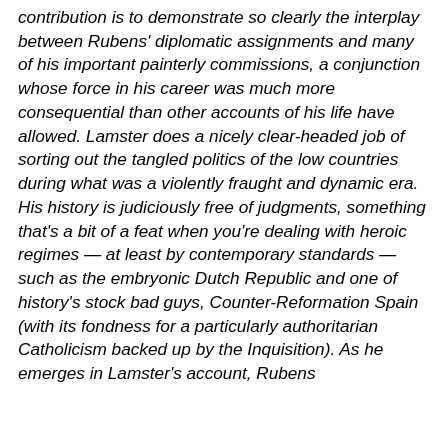contribution is to demonstrate so clearly the interplay between Rubens' diplomatic assignments and many of his important painterly commissions, a conjunction whose force in his career was much more consequential than other accounts of his life have allowed. Lamster does a nicely clear-headed job of sorting out the tangled politics of the low countries during what was a violently fraught and dynamic era. His history is judiciously free of judgments, something that's a bit of a feat when you're dealing with heroic regimes — at least by contemporary standards — such as the embryonic Dutch Republic and one of history's stock bad guys, Counter-Reformation Spain (with its fondness for a particularly authoritarian Catholicism backed up by the Inquisition). As he emerges in Lamster's account, Rubens